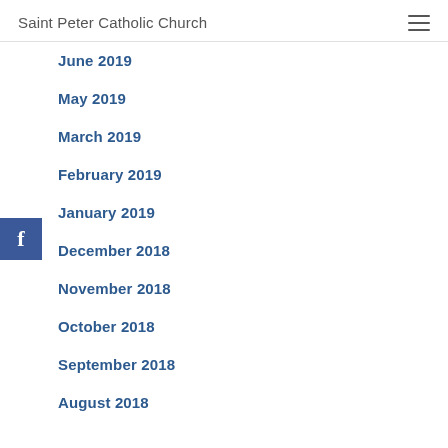Saint Peter Catholic Church
June 2019
May 2019
March 2019
February 2019
January 2019
December 2018
November 2018
October 2018
September 2018
August 2018